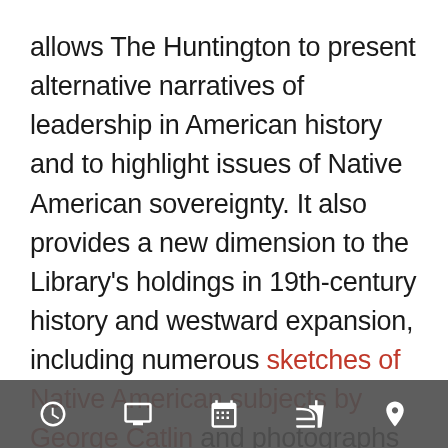allows The Huntington to present alternative narratives of leadership in American history and to highlight issues of Native American sovereignty. It also provides a new dimension to the Library's holdings in 19th-century history and westward expansion, including numerous sketches of Native American subjects by George Catlin and photographs by Carleton Watkins. The painting also adds depth to The Huntington's significant collection of early American painters, such as Benjamin West, with whom King studied in London; Thomas Sully; and Gilbert Stuart; and builds on Henry E. Huntington's founding collection, which is strong in portraits of U...